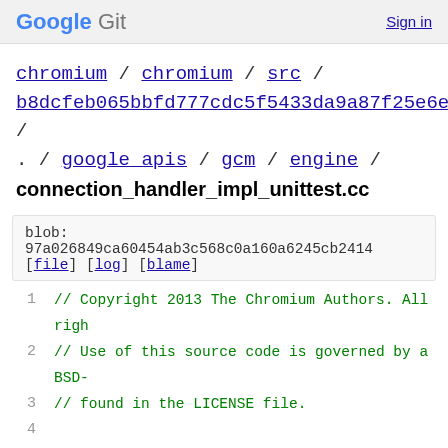Google Git  Sign in
chromium / chromium / src / b8dcfeb065bbfd777cdc5f5433da9a87f25e6ec6 / . / google_apis / gcm / engine / connection_handler_impl_unittest.cc
blob: 97a026849ca60454ab3c568c0a160a6245cb2414 [file] [log] [blame]
1  // Copyright 2013 The Chromium Authors. All righ
2  // Use of this source code is governed by a BSD-
3  // found in the LICENSE file.
4
5  #include "google_apis/gcm/engine/connection_hand
6
7  #include <stdint.h>
8